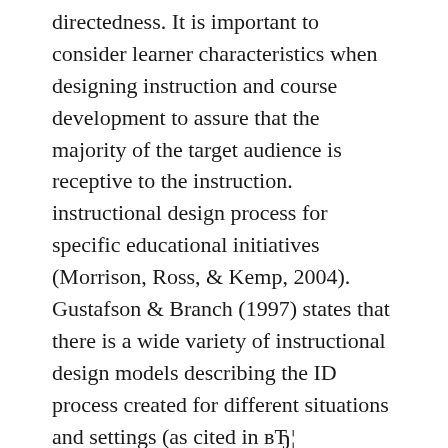directedness. It is important to consider learner characteristics when designing instruction and course development to assure that the majority of the target audience is receptive to the instruction. instructional design process for specific educational initiatives (Morrison, Ross, & Kemp, 2004). Gustafson & Branch (1997) states that there is a wide variety of instructional design models describing the ID process created for different situations and settings (as cited in вЂ¦
Critical characteristics of situated learning: Implications for the instructional design of multimedia The adult learners' characteristics are extremely important in order instructional